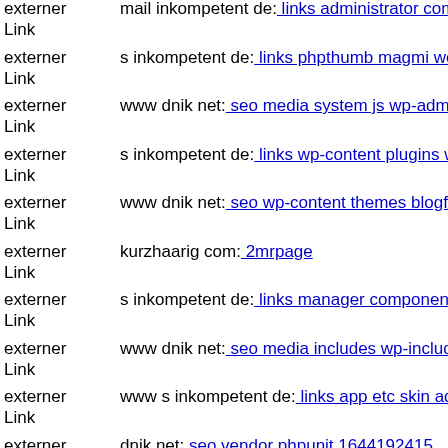externer Link | mail inkompetent de: links administrator components com ...
externer Link | s inkompetent de: links phpthumb magmi web
externer Link | www dnik net: seo media system js wp-admin includes wp-...
externer Link | s inkompetent de: links wp-content plugins wp-mobile-dete...
externer Link | www dnik net: seo wp-content themes blogfolio uploads dn...
externer Link | kurzhaarig com: 2mrpage
externer Link | s inkompetent de: links manager components com foxconta...
externer Link | www dnik net: seo media includes wp-includes s inkompete...
externer Link | www s inkompetent de: links app etc skin administrator wp...
externer Link | dnik net: seo vendor phpunit 1644192415
externer Link | s inkompetent de: links manager components com foxconta...
externer Link | dnik net: seo wp-content plugins candidate-application-for...